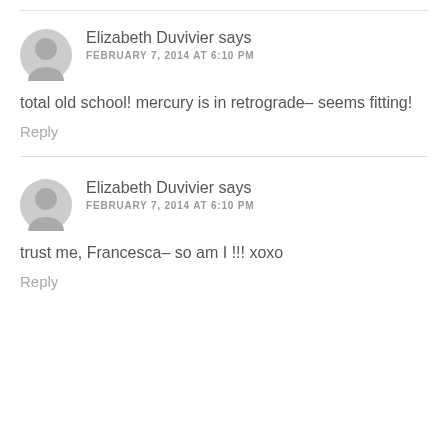Elizabeth Duvivier says
FEBRUARY 7, 2014 AT 6:10 PM
total old school! mercury is in retrograde– seems fitting!
Reply
Elizabeth Duvivier says
FEBRUARY 7, 2014 AT 6:10 PM
trust me, Francesca– so am I !!! xoxo
Reply